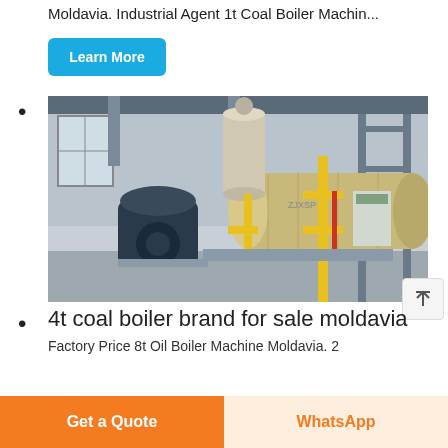Moldavia. Industrial Agent 1t Coal Boiler Machin...
Learn More
(bullet point with boiler image)
[Figure (photo): Industrial boiler equipment in a factory setting. A large horizontal pressure vessel (tan/beige color) with yellow gas pipes, associated burner/blower unit on the left (dark blue), situated in an industrial building with steel framework visible in the background.]
4t coal boiler brand for sale moldavia
Factory Price 8t Oil Boiler Machine Moldavia. 2
Get a Quote
WhatsApp